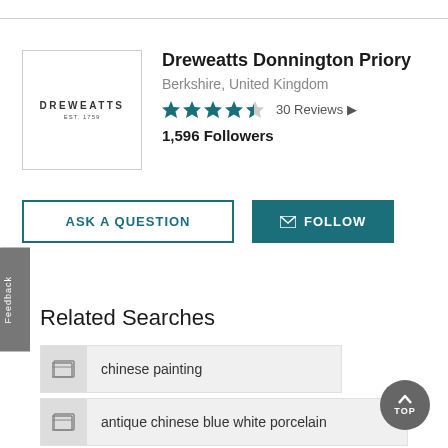[Figure (logo): Dreweatts auction house logo — text DREWEATTS EST. 1759 in a bordered box]
Dreweatts Donnington Priory
Berkshire, United Kingdom
★★★★½  30 Reviews
1,596 Followers
ASK A QUESTION
✉ FOLLOW
Related Searches
chinese painting
antique chinese blue white porcelain